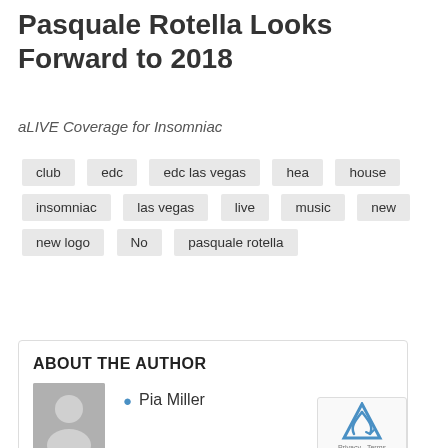Pasquale Rotella Looks Forward to 2018
aLIVE Coverage for Insomniac
club
edc
edc las vegas
hea
house
insomniac
las vegas
live
music
new
new logo
No
pasquale rotella
ABOUT THE AUTHOR
Pia Miller